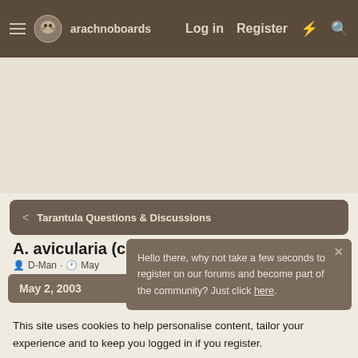arachnoboards — Log in  Register
[Figure (screenshot): Advertisement area, blank beige space]
< Tarantula Questions & Discussions
A. avicularia (cribs)
D-Man · May ...
May 2, 2003
Hello there, why not take a few seconds to register on our forums and become part of the community? Just click here.
This site uses cookies to help personalise content, tailor your experience and to keep you logged in if you register.
By continuing to use this site, you are consenting to our use of cookies.
✓ Accept
Learn more...